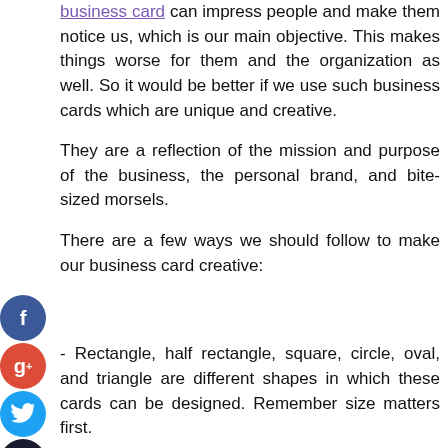business card can impress people and make them notice us, which is our main objective. This makes things worse for them and the organization as well. So it would be better if we use such business cards which are unique and creative.
They are a reflection of the mission and purpose of the business, the personal brand, and bite-sized morsels.
There are a few ways we should follow to make our business card creative:
[Figure (infographic): Social media sharing icons: Facebook (blue circle with f), Google+ (red circle with g+), Twitter (light blue circle with bird), and a dark plus circle]
- Rectangle, half rectangle, square, circle, oval, and triangle are different shapes in which these cards can be designed. Remember size matters first.
If the company is team-oriented then it is better to use trading cards with pictures of your peers and statistics.
One way to make the card attractive to people with